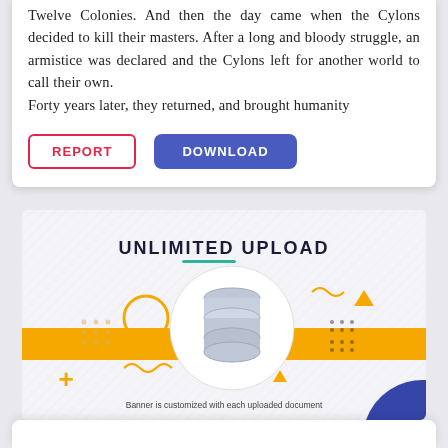Twelve Colonies. And then the day came when the Cylons decided to kill their masters. After a long and bloody struggle, an armistice was declared and the Cylons left for another world to call their own.
Forty years later, they returned, and brought humanity
[Figure (infographic): Promotional banner for 'Unlimited Upload' feature showing a stylized upload icon (cylindrical/disc shape) with decorative geometric elements in yellow/gold and blue on a light background. Text at bottom reads: 'Banner is customized with each uploaded document']